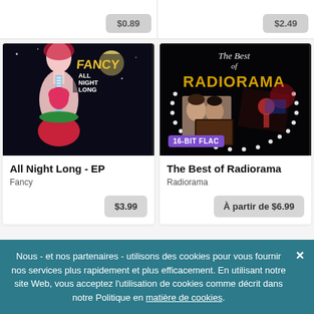[Figure (screenshot): Partial top row of two music album product cards showing price buttons (partially cropped)]
[Figure (photo): Album cover art for 'All Night Long - EP' by Fancy - dark illustration of a female figure with anatomical heart and zipper design, with 'FANCY ALL NIGHT LONG' text]
All Night Long - EP
Fancy
$3.99
[Figure (photo): Album cover art for 'The Best of Radiorama' - dark background with film strip photos of performers, gold-yellow RADIORAMA text, cursive 'The Best of' text. Badge: 16-BIT FLAC]
The Best of Radiorama
Radiorama
À partir de $6.99
Nous - et nos partenaires - utilisons des cookies pour vous fournir nos services plus rapidement et plus efficacement. En utilisant notre site Web, vous acceptez l'utilisation de cookies comme décrit dans notre Politique en matière de cookies.